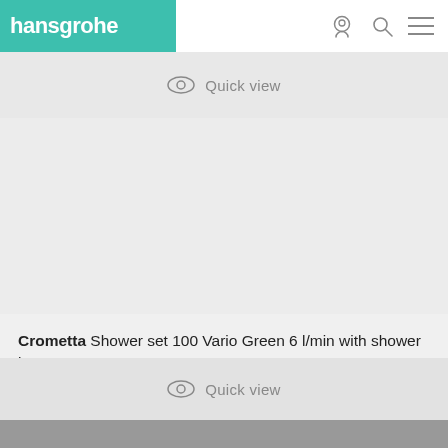hansgrohe
Quick view
[Figure (photo): Product image area for Crometta shower set - light gray placeholder]
Crometta Shower set 100 Vario Green 6 l/min with shower bar 65 cm
Quick view
[Figure (photo): Gray image area - next product partial view]